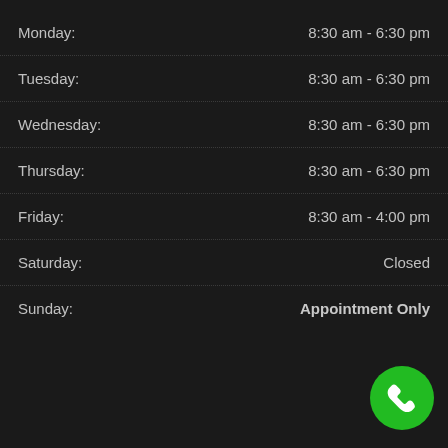| Day | Hours |
| --- | --- |
| Monday: | 8:30 am - 6:30 pm |
| Tuesday: | 8:30 am - 6:30 pm |
| Wednesday: | 8:30 am - 6:30 pm |
| Thursday: | 8:30 am - 6:30 pm |
| Friday: | 8:30 am - 4:00 pm |
| Saturday: | Closed |
| Sunday: | Appointment Only |
[Figure (other): Green circular phone call button icon in the bottom-right corner]